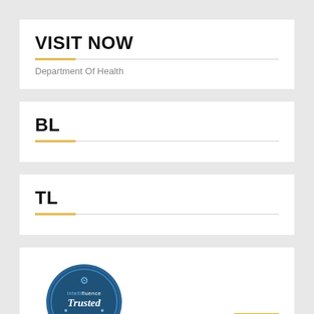VISIT NOW
Department Of Health
BL
TL
[Figure (logo): Intellifluence Trusted Blogger badge - circular blue badge with gold banner ribbon reading BLOGGER]
[Figure (other): Gold back-to-top button with upward caret arrow]